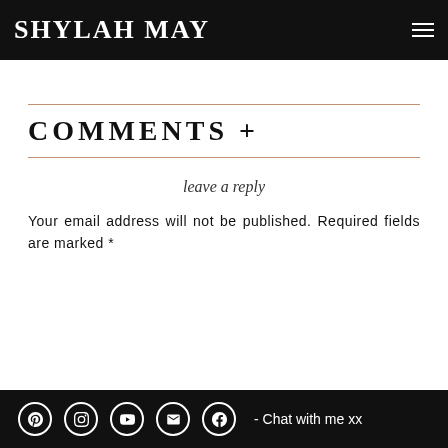SHYLAH MAY
COMMENTS +
leave a reply
Your email address will not be published. Required fields are marked *
- Chat with me xx